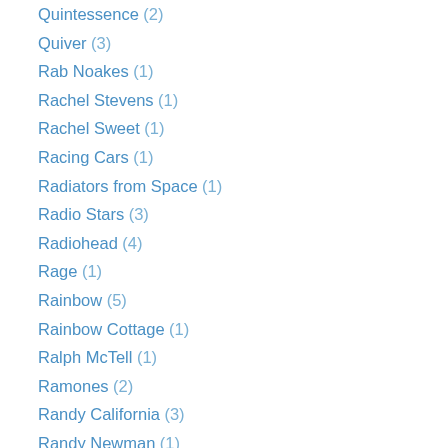Quintessence (2)
Quiver (3)
Rab Noakes (1)
Rachel Stevens (1)
Rachel Sweet (1)
Racing Cars (1)
Radiators from Space (1)
Radio Stars (3)
Radiohead (4)
Rage (1)
Rainbow (5)
Rainbow Cottage (1)
Ralph McTell (1)
Ramones (2)
Randy California (3)
Randy Newman (1)
Ratt (3)
Raven (1)
Ravi Shankar (1)
Raw Spirit (1)